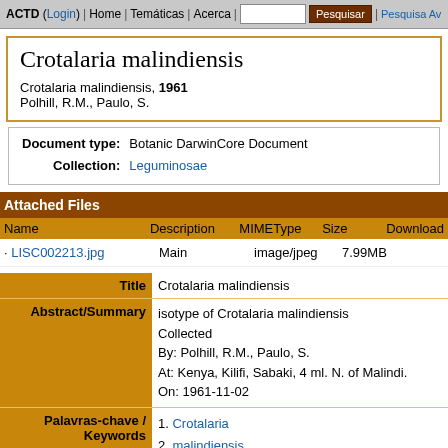ACTD (Login) | Home | Temáticas | Acerca | [search box] Pesquisar | Pesquisa Av...
Crotalaria malindiensis
Crotalaria malindiensis, 1961
Polhill, R.M., Paulo, S.
| Document type: | Collection: |
| --- | --- |
| Botanic DarwinCore Document | Leguminosae |
Attached Files
| Name | Description | MIMEType | Size | Download |
| --- | --- | --- | --- | --- |
| LISC002213.jpg | Main | image/jpeg | 7.99MB |  |
| Field | Value |
| --- | --- |
| Title | Crotalaria malindiensis |
| Abstract/Summary | isotype of Crotalaria malindiensis
Collected
By: Polhill, R.M., Paulo, S.
At: Kenya, Kilifi, Sabaki, 4 ml. N. of Malindi.
On: 1961-11-02 |
| Palavras-chave / Keywords | 1. Crotalaria
2. malindiensis
3. Kenya |
| Scientific Name | Crotalaria malindiensis |
| TypeStatus | isotype |